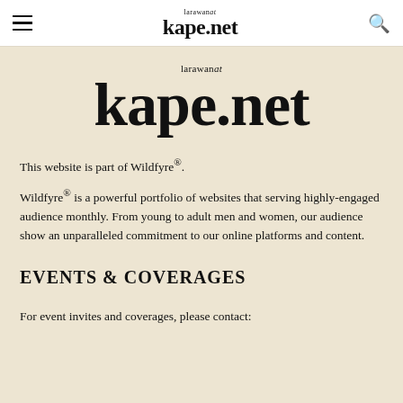larawan at kape.net
[Figure (logo): larawan at kape.net logo — large serif wordmark with 'larawan at' in small text above and 'kape.net' in large bold serif]
This website is part of Wildfyre®.
Wildfyre® is a powerful portfolio of websites that serving highly-engaged audience monthly. From young to adult men and women, our audience show an unparalleled commitment to our online platforms and content.
EVENTS & COVERAGES
For event invites and coverages, please contact: